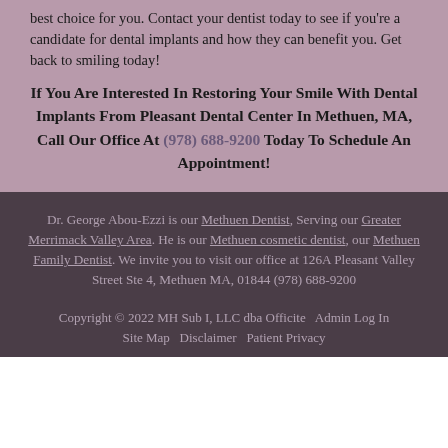best choice for you. Contact your dentist today to see if you're a candidate for dental implants and how they can benefit you. Get back to smiling today!
If You Are Interested In Restoring Your Smile With Dental Implants From Pleasant Dental Center In Methuen, MA, Call Our Office At (978) 688-9200 Today To Schedule An Appointment!
Dr. George Abou-Ezzi is our Methuen Dentist, Serving our Greater Merrimack Valley Area. He is our Methuen cosmetic dentist, our Methuen Family Dentist. We invite you to visit our office at 126A Pleasant Valley Street Ste 4, Methuen MA, 01844 (978) 688-9200
Copyright © 2022 MH Sub I, LLC dba Officite   Admin Log In   Site Map   Disclaimer   Patient Privacy